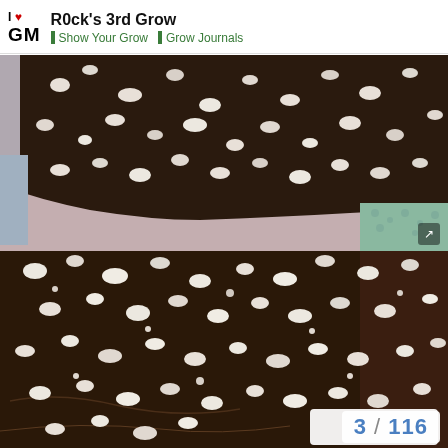R0ck's 3rd Grow | Show Your Grow | Grow Journals
[Figure (photo): Top-down close-up photo of dark soil with white perlite chunks in a pot with a pink/purple rim, and a teal/patterned surface visible in the background]
[Figure (photo): Close-up photo of dark soil mixed with white perlite chunks filling the frame, showing texture of growing medium]
3 / 116